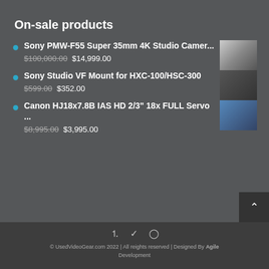On-sale products
Sony PMW-F55 Super 35mm 4K Studio Camer...
$100,000.00 $14,999.00
Sony Studio VF Mount for HXC-100/HSC-300
$599.00 $352.00
Canon HJ18x7.8B IAS HD 2/3" 18x FULL Servo ...
$8,995.00 $3,995.00
© UsedVideoGear.com 2022 | All reights reserved | Designed By Agile Development